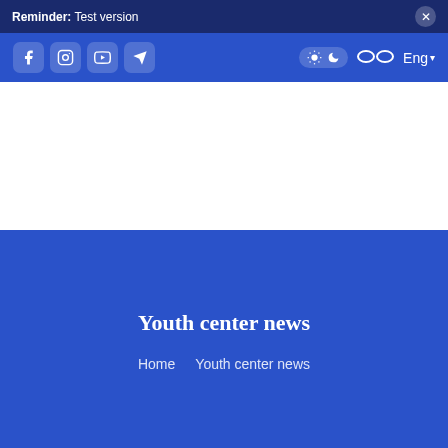Reminder: Test version
[Figure (screenshot): Navigation bar with social media icons (Facebook, Instagram, YouTube, Telegram), theme toggle (light/dark), accessibility icon (glasses), and language selector (Eng) on blue background]
Youth center news
Home   Youth center news